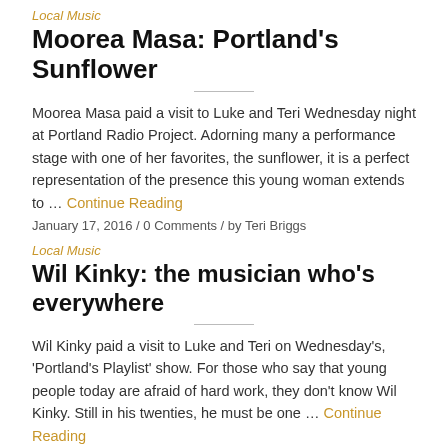Local Music
Moorea Masa: Portland's Sunflower
Moorea Masa paid a visit to Luke and Teri Wednesday night at Portland Radio Project. Adorning many a performance stage with one of her favorites, the sunflower, it is a perfect representation of the presence this young woman extends to … Continue Reading
January 17, 2016 / 0 Comments / by Teri Briggs
Local Music
Wil Kinky: the musician who's everywhere
Wil Kinky paid a visit to Luke and Teri on Wednesday's, 'Portland's Playlist' show. For those who say that young people today are afraid of hard work, they don't know Wil Kinky. Still in his twenties, he must be one … Continue Reading